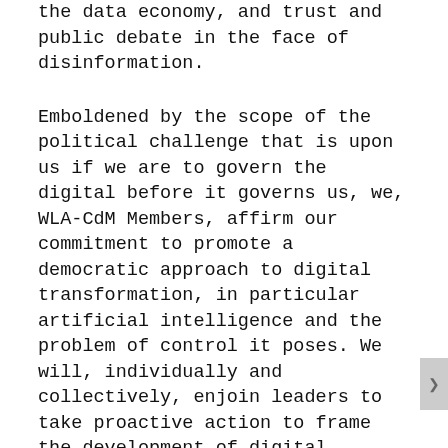the data economy, and trust and public debate in the face of disinformation.
Emboldened by the scope of the political challenge that is upon us if we are to govern the digital before it governs us, we, WLA-CdM Members, affirm our commitment to promote a democratic approach to digital transformation, in particular artificial intelligence and the problem of control it poses. We will, individually and collectively, enjoin leaders to take proactive action to frame the development of digital technologies in an inclusive, fair and rights-based legal, political and social framework. In this rapidly changing world, reacting to technological development is no longer sufficient; proactive policy has become a necessity.
Over the next months, we will be issuing policy recommendations for political leaders, policymakers, technological entrepreneurs, educators and civil society organizations, calling them to action to help make digital transformation an enabler of democracy. We, WLA-CdM